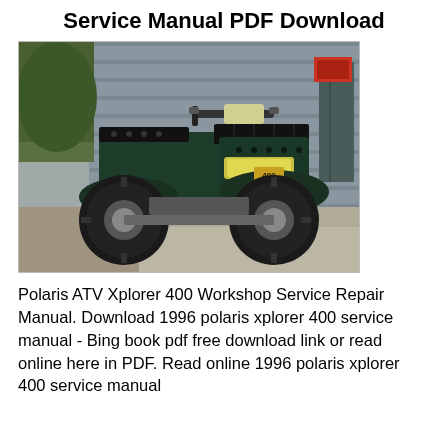Service Manual PDF Download
[Figure (photo): A green Polaris ATV Xplorer 400 four-wheeler parked on a concrete surface in front of a wooden/metal wall, viewed from a front-left angle. The ATV has large muddy knobby tires, black plastic body panels, a rack on the front, and handlebar controls visible.]
Polaris ATV Xplorer 400 Workshop Service Repair Manual. Download 1996 polaris xplorer 400 service manual - Bing book pdf free download link or read online here in PDF. Read online 1996 polaris xplorer 400 service manual